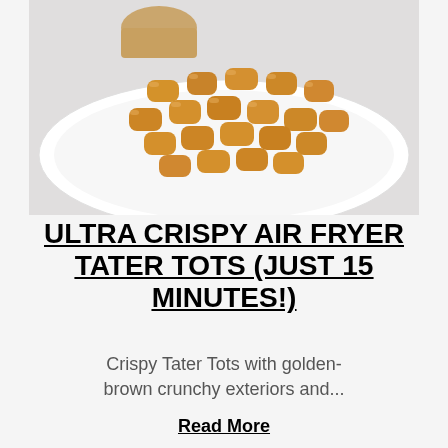[Figure (photo): A white bowl filled with golden-brown crispy tater tots, with a small dipping sauce cup visible in the upper portion of the bowl, on a white background.]
ULTRA CRISPY AIR FRYER TATER TOTS (JUST 15 MINUTES!)
Crispy Tater Tots with golden-brown crunchy exteriors and...
Read More